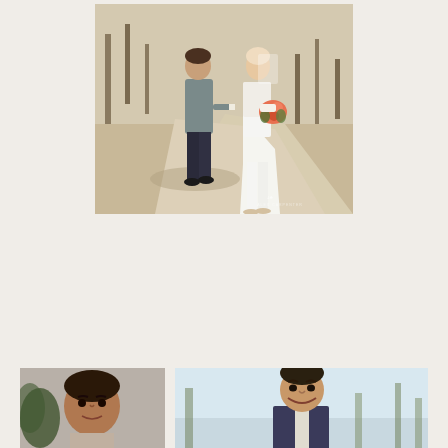[Figure (photo): Outdoor wedding photo: a bride in a white mermaid-style lace-top gown holding a pink/orange bouquet, being walked down the aisle by a man in a gray suit and dark pants. They walk on a concrete path with trees and natural landscape in background. Bright sunny day. Photographer watermark visible in lower-right corner.]
[Figure (photo): Bottom-left photo: Close-up of a middle-aged man with dark hair, partially cropped, with a plant or greenery visible.]
[Figure (photo): Bottom-right photo: A man in a suit smiling, outdoors with trees and bright sky in background.]